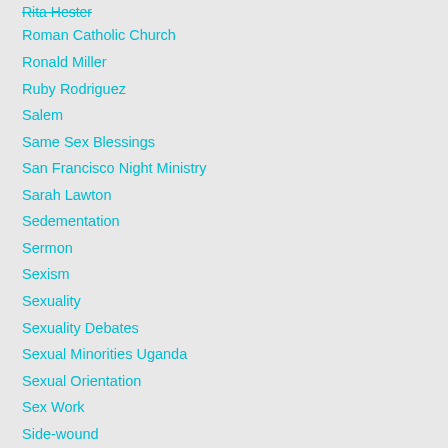Rita Hester
Roman Catholic Church
Ronald Miller
Ruby Rodriguez
Salem
Same Sex Blessings
San Francisco Night Ministry
Sarah Lawton
Sedementation
Sermon
Sexism
Sexuality
Sexuality Debates
Sexual Minorities Uganda
Sexual Orientation
Sex Work
Side-wound
Sonia Burgess
Spirituality
St. Angels